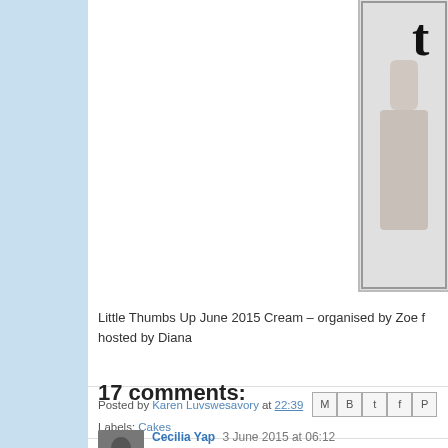[Figure (photo): Partial image of a hand giving a thumbs up sign with the letter 't' visible, in a bordered frame]
Little Thumbs Up June 2015 Cream – organised by Zoe f hosted by Diana
Posted by Karen Luvswesavory at 22:39
Labels: Cakes
17 comments:
Cecilia Yap  3 June 2015 at 06:12
Hi Karen...nice cupcakes.